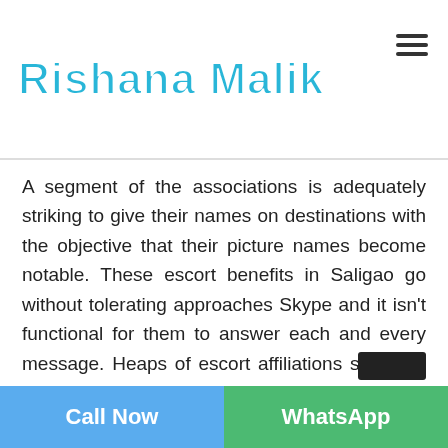Rishana Malik
A segment of the associations is adequately striking to give their names on destinations with the objective that their picture names become notable. These escort benefits in Saligao go without tolerating approaches Skype and it isn't functional for them to answer each and every message. Heaps of escort affiliations smoothly you with Independent Escorts in Saligao who has the entirety of the qualities of taking without end your weights and making your life a bewildering one. You will be able to visit such places that you would never have anything else. Escorts industry is one such sport where you can affect your fantasies to work out and in the meantime gain cash at the same time. It will take after work and play for you when you are an escort. Escort benefits in Saligao are authentic, as all of
Call Now | WhatsApp